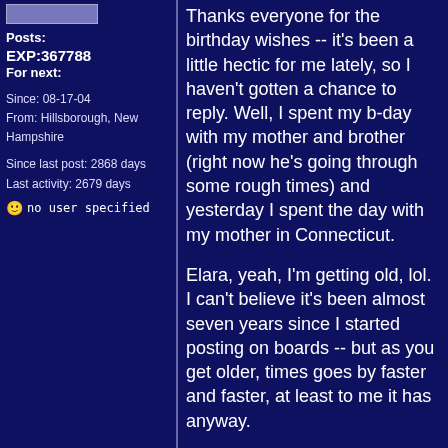[Figure (other): Avatar placeholder box (blue/grey rectangle)]
Posts:
EXP:367788
For next:
Since: 08-17-04
From: Hillsborough, New Hampshire
Since last post: 2868 days
Last activity: 2679 days
no user specified
Thanks everyone for the birthday wishes -- it's been a little hectic for me lately, so I haven't gotten a chance to reply. Well, I spent my b-day with my mother and brother (right now he's going through some rough times) and yesterday I spent the day with my mother in Connecticut.

Elara, yeah, I'm getting old, lol. I can't believe it's been almost seven years since I started posting on boards -- but as you get older, times goes by faster and faster, at least to me it has anyway.

Kyoku -- Wow, you spent 6 months in Japan? That's great